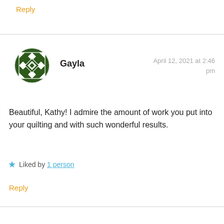Reply
[Figure (illustration): Circular avatar with a green and white quilt/geometric pattern design]
Gayla
April 12, 2021 at 2:46 pm
Beautiful, Kathy! I admire the amount of work you put into your quilting and with such wonderful results.
Liked by 1 person
Reply